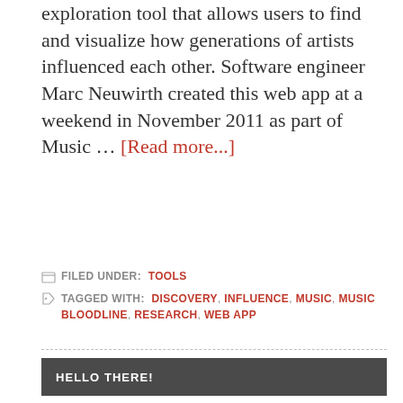exploration tool that allows users to find and visualize how generations of artists influenced each other. Software engineer Marc Neuwirth created this web app at a weekend in November 2011 as part of Music … [Read more...]
FILED UNDER: TOOLS
TAGGED WITH: DISCOVERY, INFLUENCE, MUSIC, MUSIC BLOODLINE, RESEARCH, WEB APP
HELLO THERE!
[Figure (photo): Headshot photo of a man with short light hair wearing a dark shirt, smiling slightly, against a light background]
I'm Chris aka DJ Chrisbe and I'm the founder of Swing DJ Resources, where Swing DJs and musicians come to learn about